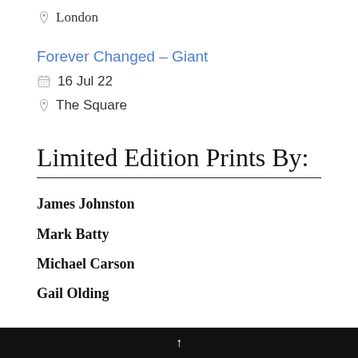London
Forever Changed - Giant
16 Jul 22
The Square
Limited Edition Prints By:
James Johnston
Mark Batty
Michael Carson
Gail Olding
↑